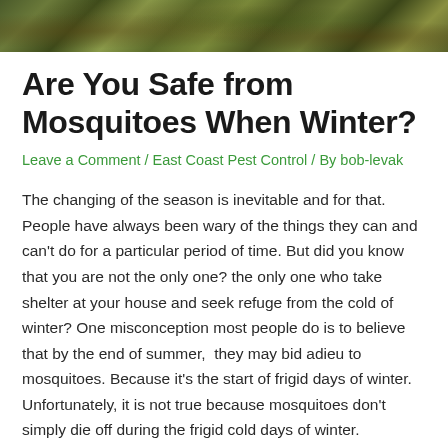[Figure (photo): Overhead photo of green leafy plants and leaf litter on the ground, serving as a decorative header image for the article.]
Are You Safe from Mosquitoes When Winter?
Leave a Comment / East Coast Pest Control / By bob-levak
The changing of the season is inevitable and for that. People have always been wary of the things they can and can't do for a particular period of time. But did you know that you are not the only one? the only one who take shelter at your house and seek refuge from the cold of winter? One misconception most people do is to believe that by the end of summer,  they may bid adieu to mosquitoes. Because it's the start of frigid days of winter. Unfortunately, it is not true because mosquitoes don't simply die off during the frigid cold days of winter.